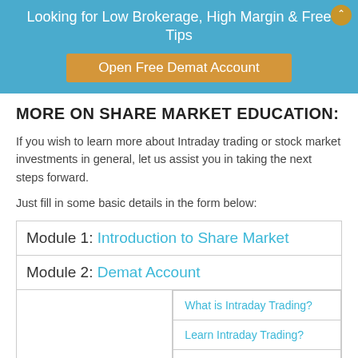Looking for Low Brokerage, High Margin & Free Tips
[Figure (other): Open Free Demat Account button banner]
MORE ON SHARE MARKET EDUCATION:
If you wish to learn more about Intraday trading or stock market investments in general, let us assist you in taking the next steps forward.
Just fill in some basic details in the form below:
| Module 1: Introduction to Share Market |
| Module 2: Demat Account |
|  | What is Intraday Trading? |
|  | Learn Intraday Trading? |
|  | How Intraday Trading Works? |